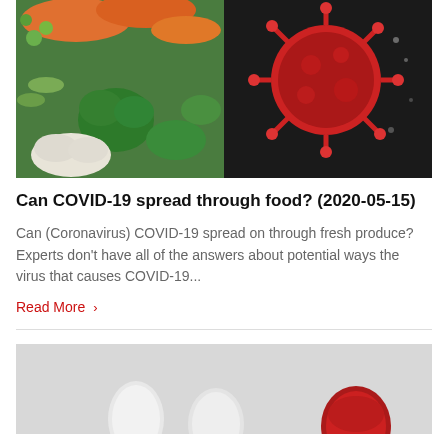[Figure (photo): Split image: colorful fresh vegetables on the left half and a microscopic COVID-19 coronavirus particle on the right half against a dark background]
Can COVID-19 spread through food? (2020-05-15)
Can (Coronavirus) COVID-19 spread on through fresh produce? Experts don’t have all of the answers about potential ways the virus that causes COVID-19...
Read More ›
[Figure (photo): Gray background with white and red capsule pills/supplements arranged on a light gray surface]